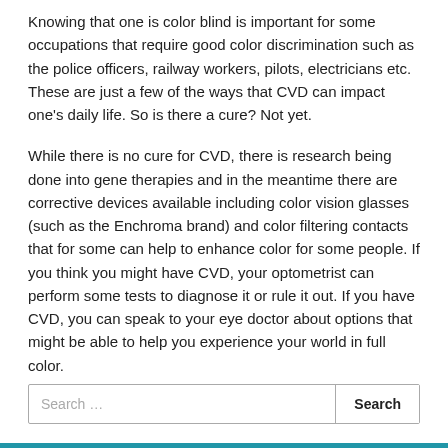Knowing that one is color blind is important for some occupations that require good color discrimination such as the police officers, railway workers, pilots, electricians etc.  These are just a few of the ways that CVD can impact one's daily life. So is there a cure? Not yet.
While there is no cure for CVD, there is research being done into gene therapies and in the meantime there are corrective devices available including color vision glasses (such as the Enchroma brand) and color filtering contacts that for some can help to enhance color for some people. If you think you might have CVD, your optometrist can perform some tests to diagnose it or rule it out. If you have CVD, you can speak to your eye doctor about options that might be able to help you experience your world in full color.